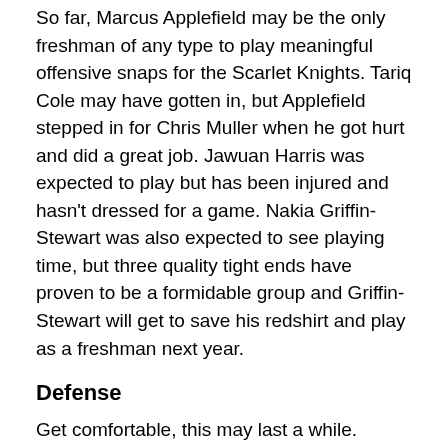So far, Marcus Applefield may be the only freshman of any type to play meaningful offensive snaps for the Scarlet Knights. Tariq Cole may have gotten in, but Applefield stepped in for Chris Muller when he got hurt and did a great job. Jawuan Harris was expected to play but has been injured and hasn't dressed for a game. Nakia Griffin-Stewart was also expected to see playing time, but three quality tight ends have proven to be a formidable group and Griffin-Stewart will get to save his redshirt and play as a freshman next year.
Defense
Get comfortable, this may last a while.